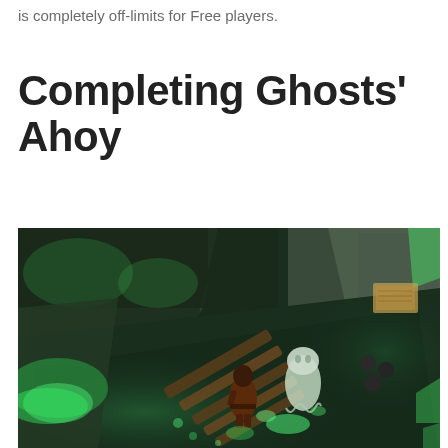is completely off-limits for Free players.
Completing Ghosts' Ahoy
[Figure (screenshot): A screenshot from the game RuneScape showing a player character standing in a dark, eerie ship interior with ghostly green glowing effects, broken wooden planks, cannonballs, and a ghostly white figure nearby. The environment has a dark teal/green atmosphere.]